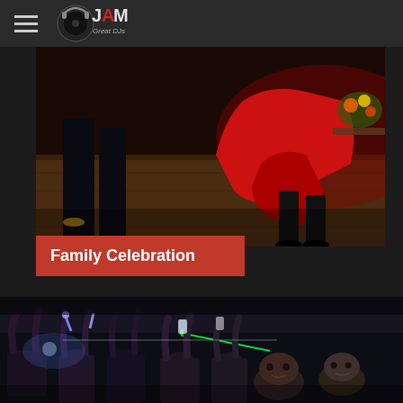JAM Great DJs navigation header
[Figure (photo): People dancing at a family celebration event, showing legs and feet dancing on a wooden floor, woman in red dress, decorative table in background]
Family Celebration
296 views  72 comments  214 likes
[Figure (photo): Crowd of people at an event with hands raised, glowing light sticks, green laser lights, people cheering and celebrating]